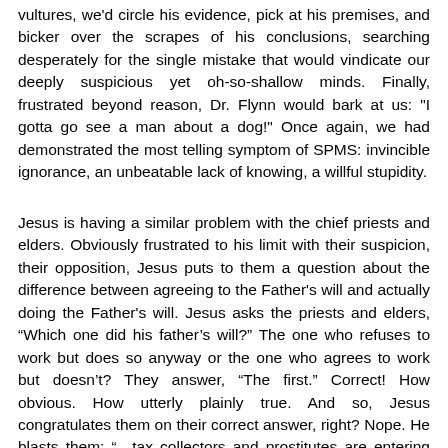vultures, we'd circle his evidence, pick at his premises, and bicker over the scrapes of his conclusions, searching desperately for the single mistake that would vindicate our deeply suspicious yet oh-so-shallow minds. Finally, frustrated beyond reason, Dr. Flynn would bark at us: "I gotta go see a man about a dog!" Once again, we had demonstrated the most telling symptom of SPMS: invincible ignorance, an unbeatable lack of knowing, a willful stupidity.
Jesus is having a similar problem with the chief priests and elders. Obviously frustrated to his limit with their suspicion, their opposition, Jesus puts to them a question about the difference between agreeing to the Father's will and actually doing the Father's will. Jesus asks the priests and elders, “Which one did his father’s will?” The one who refuses to work but does so anyway or the one who agrees to work but doesn’t? They answer, “The first.” Correct! How obvious. How utterly plainly true. And so, Jesus congratulates them on their correct answer, right? Nope. He blasts them: “…tax collectors and prostitutes are entering the kingdom of God before you…” They will not believe.